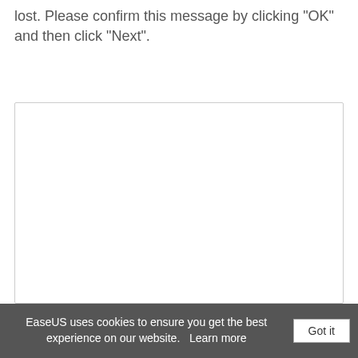lost. Please confirm this message by clicking "OK" and then click "Next".
[Figure (screenshot): A large empty white box representing a screenshot area with a light gray border]
EaseUS uses cookies to ensure you get the best experience on our website.   Learn more   Got it